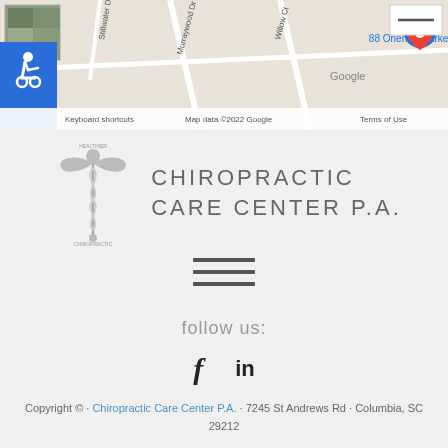[Figure (screenshot): Google Maps screenshot showing area near 88 Oriental Market with street labels including Murraywood Dr, Willow Ct, Stillwater Dr, and Irmo Middle School. Includes accessibility wheelchair icon overlay and Google branding with 'Keyboard shortcuts', 'Map data ©2022 Google', 'Terms of Use'.]
[Figure (logo): Chiropractic Care Center P.A. logo featuring a caduceus medical symbol on the left and the text 'CHIROPRACTIC CARE CENTER P.A.' in large grey letters on the right.]
[Figure (other): Hamburger menu icon with three horizontal lines]
follow us:
[Figure (other): Social media icons: Facebook (f) and LinkedIn (in)]
Copyright © · Chiropractic Care Center P.A. · 7245 St Andrews Rd · Columbia, SC 29212